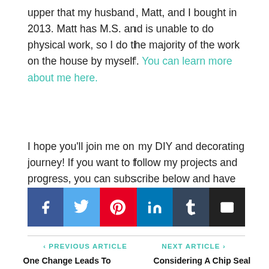upper that my husband, Matt, and I bought in 2013. Matt has M.S. and is unable to do physical work, so I do the majority of the work on the house by myself. You can learn more about me here.
I hope you'll join me on my DIY and decorating journey! If you want to follow my projects and progress, you can subscribe below and have each new post delivered to your email inbox. That way you'll never miss a thing!
[Figure (infographic): Social share buttons: Facebook (blue), Twitter (light blue), Pinterest (red), LinkedIn (dark teal), Tumblr (dark blue-grey), Email (black)]
< PREVIOUS ARTICLE   NEXT ARTICLE >
One Change Leads To   Considering A Chip Seal